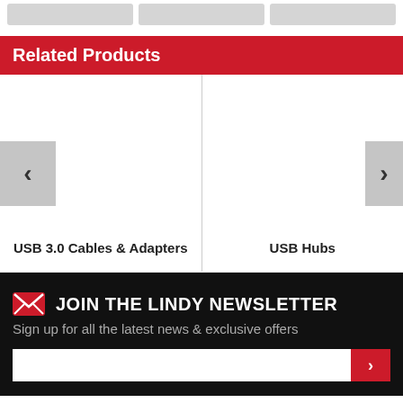[Figure (screenshot): Three gray placeholder boxes in a row at the top of the page]
Related Products
[Figure (screenshot): Product carousel with left and right navigation arrows, two product categories separated by a vertical line: 'USB 3.0 Cables & Adapters' on the left and 'USB Hubs' on the right]
USB 3.0 Cables & Adapters
USB Hubs
JOIN THE LINDY NEWSLETTER
Sign up for all the latest news & exclusive offers